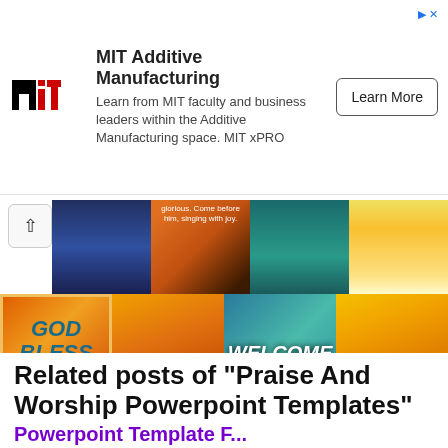[Figure (screenshot): MIT Additive Manufacturing advertisement banner with MIT logo, descriptive text about learning from MIT faculty, and a Learn More button]
[Figure (photo): Grid of 11 thumbnail images related to praise and worship PowerPoint templates, including images with text overlays: GOD BLESS YOU, WELCOME, WORSHIP]
Related posts of "Praise And Worship Powerpoint Templates"
Powerpoint Template F...